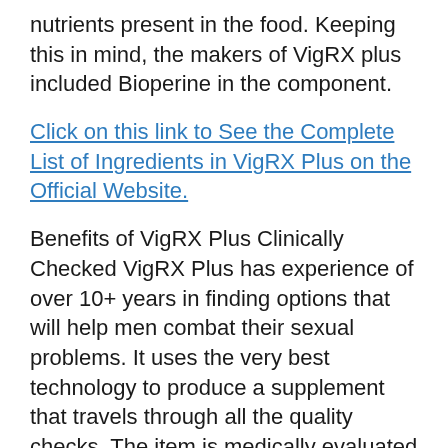nutrients present in the food. Keeping this in mind, the makers of VigRX plus included Bioperine in the component.
Click on this link to See the Complete List of Ingredients in VigRX Plus on the Official Website.
Benefits of VigRX Plus Clinically Checked VigRX Plus has experience of over 10+ years in finding options that will help men combat their sexual problems. It uses the very best technology to produce a supplement that travels through all the quality checks. The item is medically evaluated and authorized by Vedic Lifesciences Pvt. LTD. The results show that regular use of VigRX helps in enhancing sexual desires and prolong